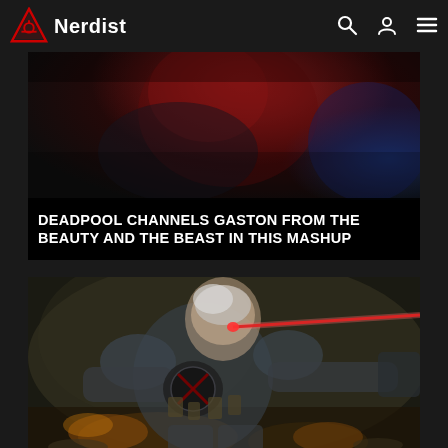Nerdist
[Figure (screenshot): Deadpool article card showing a close-up of Deadpool costume in dark red and blue tones]
DEADPOOL CHANNELS GASTON FROM THE BEAUTY AND THE BEAST IN THIS MASHUP
[Figure (illustration): Comic-style illustration of Cable, a muscular armored character with white hair and a glowing red laser eye, holding a gun, with explosions in the background]